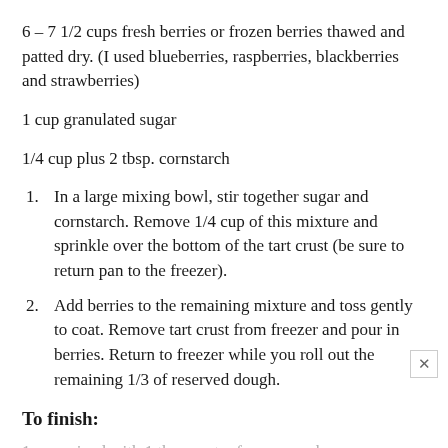6 – 7 1/2 cups fresh berries or frozen berries thawed and patted dry. (I used blueberries, raspberries, blackberries and strawberries)
1 cup granulated sugar
1/4 cup plus 2 tbsp. cornstarch
1. In a large mixing bowl, stir together sugar and cornstarch. Remove 1/4 cup of this mixture and sprinkle over the bottom of the tart crust (be sure to return pan to the freezer).
2. Add berries to the remaining mixture and toss gently to coat. Remove tart crust from freezer and pour in berries. Return to freezer while you roll out the remaining 1/3 of reserved dough.
To finish:
1 egg mixed with 1 tbsp. water for egg wash